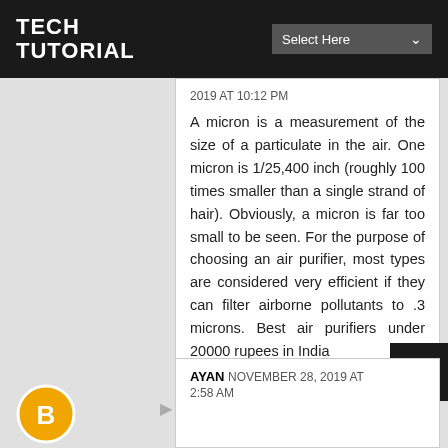TECH TUTORIAL
2019 AT 10:12 PM
A micron is a measurement of the size of a particulate in the air. One micron is 1/25,400 inch (roughly 100 times smaller than a single strand of hair). Obviously, a micron is far too small to be seen. For the purpose of choosing an air purifier, most types are considered very efficient if they can filter airborne pollutants to .3 microns. Best air purifiers under 20000 rupees in India
Reply
AYAN  NOVEMBER 28, 2019 AT 2:58 AM